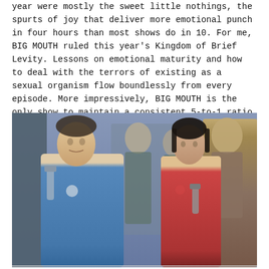year were mostly the sweet little nothings, the spurts of joy that deliver more emotional punch in four hours than most shows do in 10. For me, BIG MOUTH ruled this year's Kingdom of Brief Levity. Lessons on emotional maturity and how to deal with the terrors of existing as a sexual organism flow boundlessly from every episode. More impressively, BIG MOUTH is the only show to maintain a consistent 5-to-1 ratio of dick jokes to NPR jokes. [Dan Blomquist]
[Figure (photo): A still from a TV show featuring actors in sci-fi uniforms. A man in a blue jumpsuit uniform holds a weapon on the left, with several people behind him, and a young woman in a red uniform holds a weapon on the right, with an older man behind her. The scene appears to be from The Orville.]